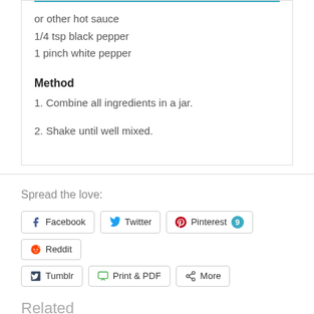or other hot sauce
1/4 tsp black pepper
1 pinch white pepper
Method
1. Combine all ingredients in a jar.
2. Shake until well mixed.
Spread the love:
Facebook  Twitter  Pinterest 9  Reddit  Tumblr  Print & PDF  More
Related